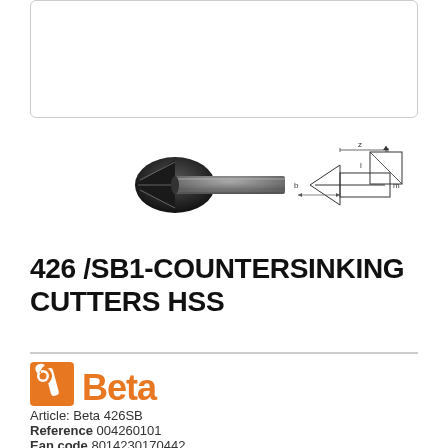[Figure (illustration): Empty white rectangle with rounded border at the top of the page — likely a placeholder image area]
[Figure (engineering-diagram): Photo of a countersinking HSS cutter tool (dark/black conical drill bit with cylindrical shank) on the left, and a technical line drawing schematic showing the tool dimensions with dimension arrows on the right]
426 /SB1-COUNTERSINKING CUTTERS HSS
[Figure (logo): Beta Tools logo: orange wrench icon next to bold orange text 'Beta']
Article: Beta 426SB
Reference 004260101
Ean code 8014230170442